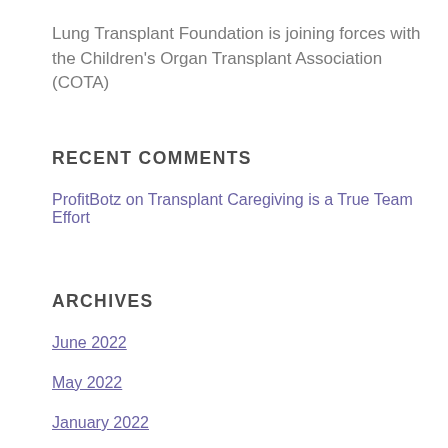Lung Transplant Foundation is joining forces with the Children's Organ Transplant Association (COTA)
RECENT COMMENTS
ProfitBotz on Transplant Caregiving is a True Team Effort
ARCHIVES
June 2022
May 2022
January 2022
March 2021